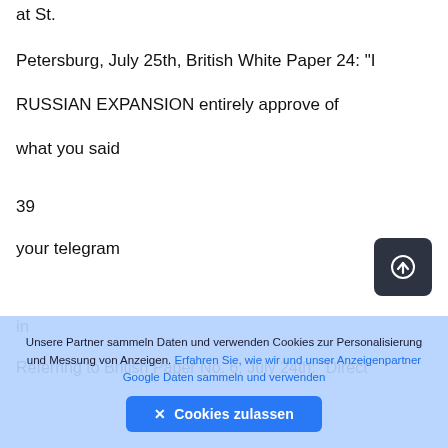at St.
Petersburg, July 25th, British White Paper 24: "I RUSSIAN EXPANSION entirely approve of what you said
39
your telegram
in
Referring to British Paper No. 6, July 24th: "Direct
Unsere Partner sammeln Daten und verwenden Cookies zur Personalisierung und Messung von Anzeigen. Erfahren Sie, wie wir und unser Anzeigenpartner Google Daten sammeln und verwenden
✕ Cookies zulassen